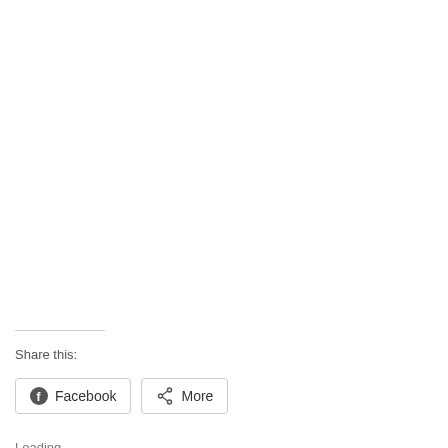Share this:
Facebook
More
Loading...